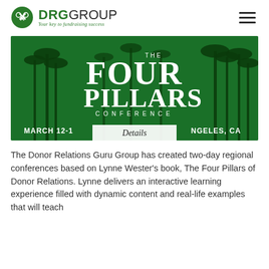[Figure (logo): DRG Group logo with green circle icon containing crossed keys, bold green DRG and black GROUP text, and green italic tagline 'Your key to fundraising success']
[Figure (photo): The Four Pillars Conference banner image: green-tinted photo of palm trees with large white decorative typography reading 'THE FOUR PILLARS CONFERENCE', text at bottom reading 'MARCH 12-1[4?] [LOS AN]GELES, CA', and a white Details button overlay]
The Donor Relations Guru Group has created two-day regional conferences based on Lynne Wester's book, The Four Pillars of Donor Relations. Lynne delivers an interactive learning experience filled with dynamic content and real-life examples that will teach